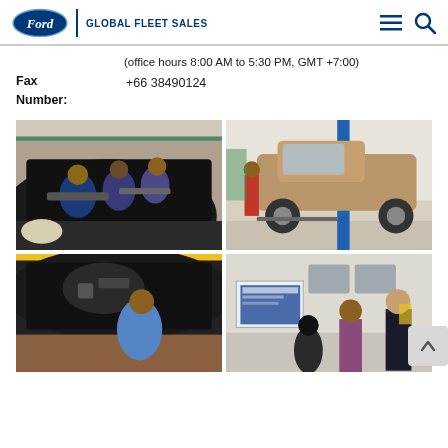Ford | GLOBAL FLEET SALES
(office hours 8:00 AM to 5:30 PM, GMT +7:00)
Fax Number:  +66 38490124
[Figure (photo): Auto mechanics working under the hood of a car in a service workshop]
[Figure (photo): A bronze/gold pickup truck on a hydraulic lift in a service bay]
[Figure (photo): A mechanic working under the hood of a dark-colored car]
[Figure (photo): People in a training room with a presentation screen]